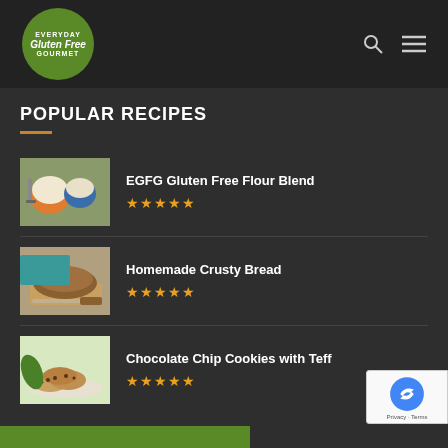Everyday Gluten Free Gourmet
POPULAR RECIPES
EGFG Gluten Free Flour Blend ★★★★★
Homemade Crusty Bread ★★★★★
Chocolate Chip Cookies with Teff ★★★★★